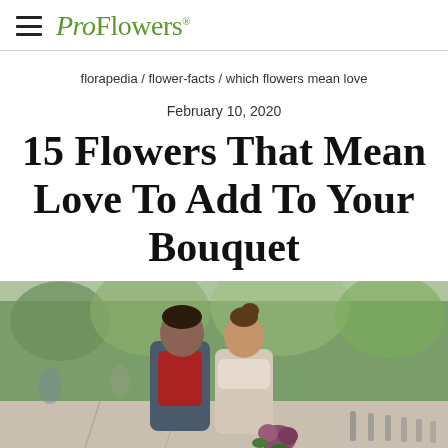ProFlowers
florapedia / flower-facts / which flowers mean love
February 10, 2020
15 Flowers That Mean Love To Add To Your Bouquet
[Figure (photo): A couple walking together in a park, smiling at each other. The man is wearing a red turtleneck and grey jacket; the woman has a bun hairstyle and a scarf, holding flowers. Autumn trees in the background.]